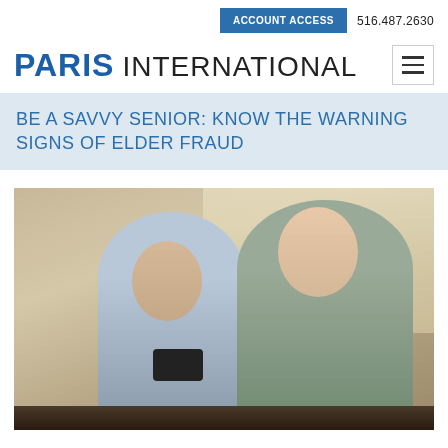ACCOUNT ACCESS  516.487.2630
PARIS INTERNATIONAL
BE A SAVVY SENIOR: KNOW THE WARNING SIGNS OF ELDER FRAUD
[Figure (photo): An elderly man wearing glasses and a red tie and a young woman smiling together while looking at a smartphone, seated in an indoor setting with warm ambient lighting.]